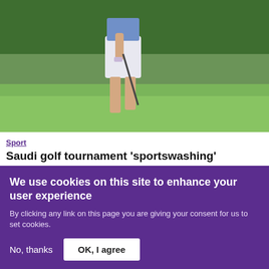[Figure (photo): Golfer (woman's lower body) in white shorts and blue top holding a golf club on a golf course with green grass and trees in the background]
Sport
Saudi golf tournament 'sportswashing' women's rights abuses, activists warn
[Figure (logo): MFE logo in purple block letters]
We use cookies on this site to enhance your user experience
By clicking any link on this page you are giving your consent for us to set cookies.
No, thanks   OK, I agree